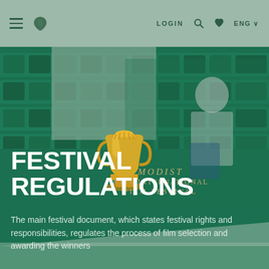≡ [logo] LOGIN 🔍 ♥ ENG ∨
[Figure (photo): Festival regulations hero banner with green-tinted theater seats, a person leaning over seats, a golden trophy/mascot figure, and overlaid MODIST KYIV INTERNATIONAL FILM FESTIVAL text]
FESTIVAL REGULATIONS
The main festival document, which states festival rights and responsibilities, regulates the process of film selection and awarding the winners